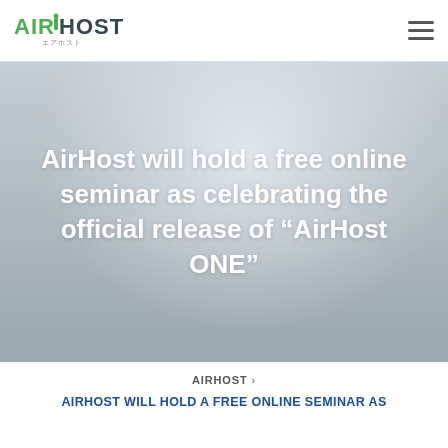AirHost
AirHost will hold a free online seminar as celebrating the official release of “AirHost ONE”
AIRHOST ›
AIRHOST WILL HOLD A FREE ONLINE SEMINAR AS